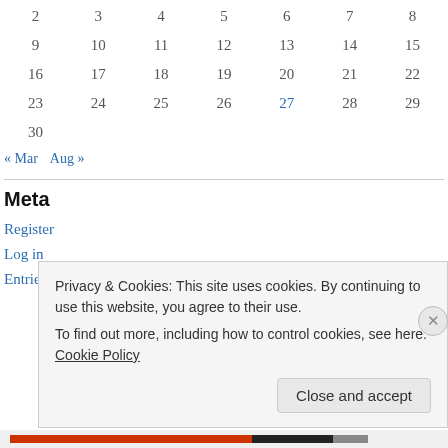| 2 | 3 | 4 | 5 | 6 | 7 | 8 |
| 9 | 10 | 11 | 12 | 13 | 14 | 15 |
| 16 | 17 | 18 | 19 | 20 | 21 | 22 |
| 23 | 24 | 25 | 26 | 27 | 28 | 29 |
| 30 |  |  |  |  |  |  |
« Mar   Aug »
Meta
Register
Log in
Entries feed
Privacy & Cookies: This site uses cookies. By continuing to use this website, you agree to their use.
To find out more, including how to control cookies, see here: Cookie Policy
Close and accept